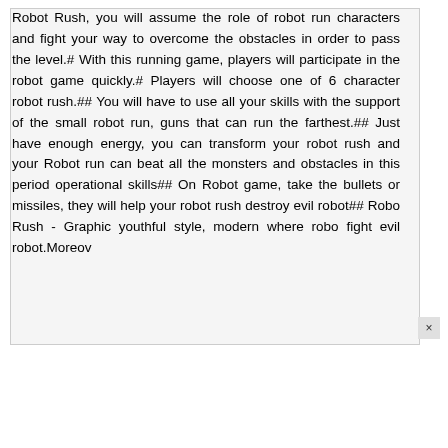Robot Rush, you will assume the role of robot run characters and fight your way to overcome the obstacles in order to pass the level.# With this running game, players will participate in the robot game quickly.# Players will choose one of 6 character robot rush.## You will have to use all your skills with the support of the small robot run, guns that can run the farthest.## Just have enough energy, you can transform your robot rush and your Robot run can beat all the monsters and obstacles in this period operational skills## On Robot game, take the bullets or missiles, they will help your robot rush destroy evil robot## Robo Rush - Graphic youthful style, modern where robo fight evil robot.Moreov ×